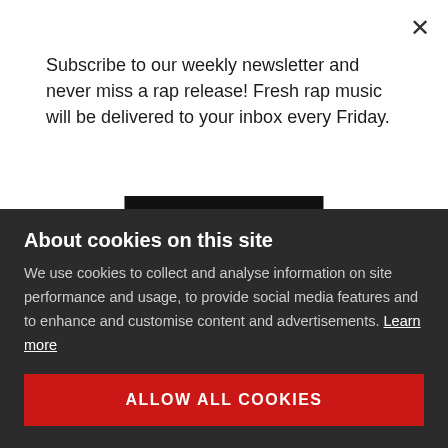Subscribe to our weekly newsletter and never miss a rap release! Fresh rap music will be delivered to your inbox every Friday.
Subscribe
Grim Moses - Brando's War Paint  03-09-2021
Supreme Cerebral, Reckonize R...  03-09-2021
Rahiem Supreme - Rascoe  03-07-2021
About cookies on this site
We use cookies to collect and analyse information on site performance and usage, to provide social media features and to enhance and customise content and advertisements. Learn more
ALLOW ALL COOKIES